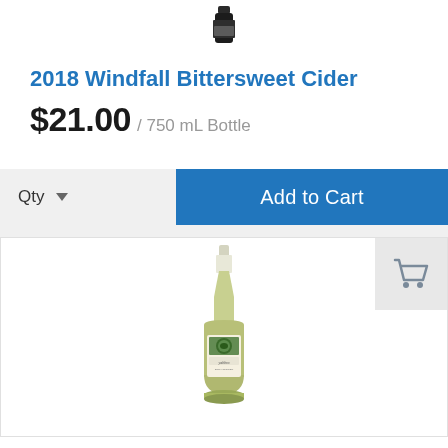[Figure (photo): Top portion of a dark wine/cider bottle visible at the top of the page]
2018 Windfall Bittersweet Cider
$21.00 / 750 mL Bottle
Qty  ▼  Add to Cart
[Figure (photo): A green wine bottle with a white/cream label featuring the brand 'yabbro' and decorative illustration, standing upright on a white background]